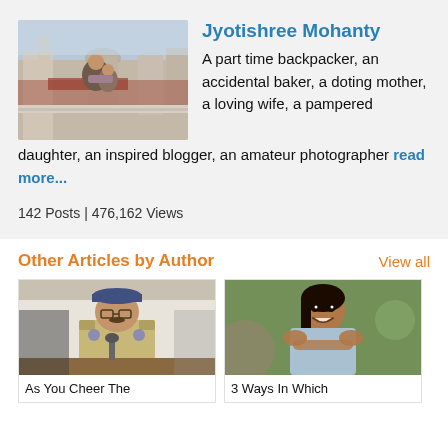[Figure (photo): Author profile photo showing a person on a rooftop terrace with buildings and sky in background]
Jyotishree Mohanty
A part time backpacker, an accidental baker, a doting mother, a loving wife, a pampered daughter, an inspired blogger, an amateur photographer read more...
142 Posts | 476,162 Views
Other Articles by Author
View all
[Figure (photo): Photo of a police officer seated at a desk]
As You Cheer The
[Figure (photo): Photo of a smiling woman in a light blue outfit]
3 Ways In Which